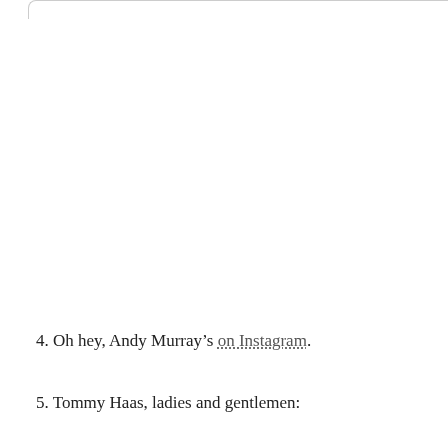4. Oh hey, Andy Murray’s on Instagram.
5. Tommy Haas, ladies and gentlemen: